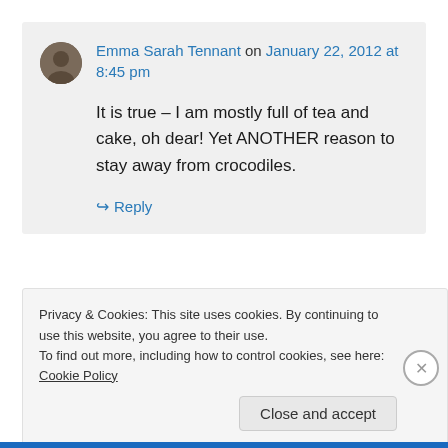Emma Sarah Tennant on January 22, 2012 at 8:45 pm
It is true – I am mostly full of tea and cake, oh dear! Yet ANOTHER reason to stay away from crocodiles.
↪ Reply
Privacy & Cookies: This site uses cookies. By continuing to use this website, you agree to their use. To find out more, including how to control cookies, see here: Cookie Policy
Close and accept